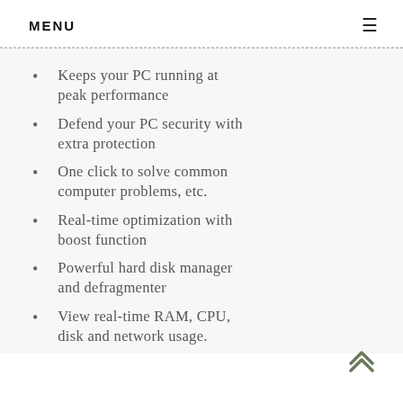MENU
Keeps your PC running at peak performance
Defend your PC security with extra protection
One click to solve common computer problems, etc.
Real-time optimization with boost function
Powerful hard disk manager and defragmenter
View real-time RAM, CPU, disk and network usage.